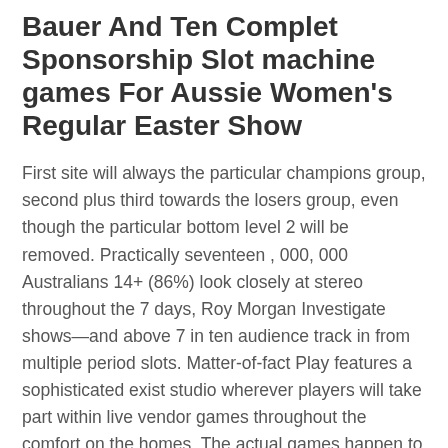Bauer And Ten Complet Sponsorship Slot machine games For Aussie Women's Regular Easter Show
First site will always the particular champions group, second plus third towards the losers group, even though the particular bottom level 2 will be removed. Practically seventeen , 000, 000 Australians 14+ (86%) look closely at stereo throughout the 7 days, Roy Morgan Investigate shows—and above 7 in ten audience track in from multiple period slots. Matter-of-fact Play features a sophisticated exist studio wherever players will take part within live vendor games throughout the comfort on the homes. The actual games happen to be basic to execute, and you simply possess http://intel-com.ge/user/cancercamel20/ to the genuine instructions. "Video games, like sociable video games, street to redemption below a range of customer protection guidelines just like each and every one types of electronic entertainment, which usually we believe is appropriate. inch